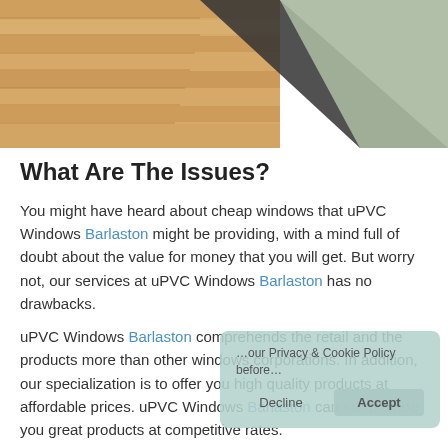[Figure (photo): Photo of a wooden floor with a dark dividing line and a grey/green surface on the right side]
What Are The Issues?
You might have heard about cheap windows that uPVC Windows Barlaston might be providing, with a mind full of doubt about the value for money that you will get. But worry not, our services at uPVC Windows Barlaston has no drawbacks.
uPVC Windows Barlaston comprehends the retail and the products more than other windows corporations. In addition, our specialization is to offer you high quality products at affordable prices. uPVC Windows Barlaston can still provide you great products at competitive rates.